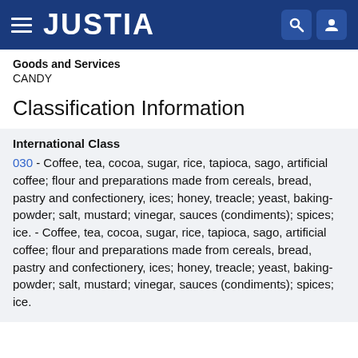JUSTIA
Goods and Services
CANDY
Classification Information
International Class
030 - Coffee, tea, cocoa, sugar, rice, tapioca, sago, artificial coffee; flour and preparations made from cereals, bread, pastry and confectionery, ices; honey, treacle; yeast, baking-powder; salt, mustard; vinegar, sauces (condiments); spices; ice. - Coffee, tea, cocoa, sugar, rice, tapioca, sago, artificial coffee; flour and preparations made from cereals, bread, pastry and confectionery, ices; honey, treacle; yeast, baking-powder; salt, mustard; vinegar, sauces (condiments); spices; ice.